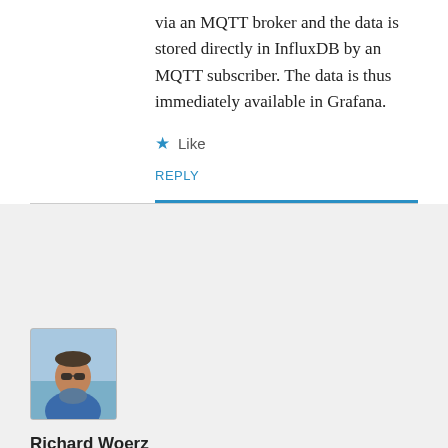via an MQTT broker and the data is stored directly in InfluxDB by an MQTT subscriber. The data is thus immediately available in Grafana.
★ Like
REPLY
[Figure (photo): Avatar photo of Richard Woerz, a person wearing sunglasses and a blue jacket, outdoors near water.]
Richard Woerz
8 December, 2017 at 01:26
Great post. It will take me a bit to understand it all